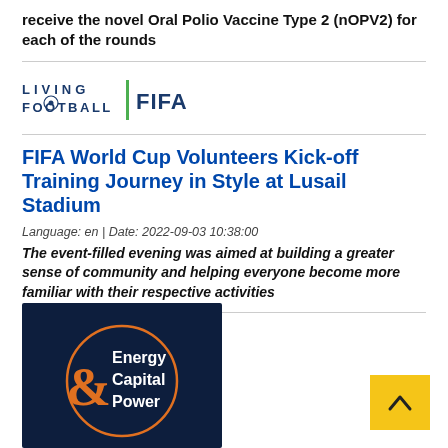receive the novel Oral Polio Vaccine Type 2 (nOPV2) for each of the rounds
[Figure (logo): Living Football FIFA logo — 'LIVING FOOTBALL' text in blue with a soccer ball icon, green vertical bar, and 'FIFA' text in blue]
FIFA World Cup Volunteers Kick-off Training Journey in Style at Lusail Stadium
Language: en | Date: 2022-09-03 10:38:00
The event-filled evening was aimed at building a greater sense of community and helping everyone become more familiar with their respective activities
[Figure (logo): Energy Capital & Power logo — dark navy square with orange circle outline and orange ampersand, white text reading 'Energy Capital Power']